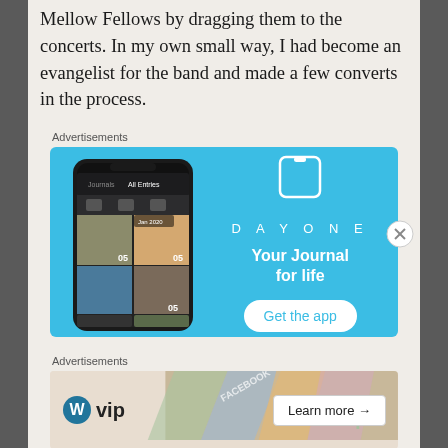Mellow Fellows by dragging them to the concerts. In my own small way, I had become an evangelist for the band and made a few converts in the process.
Advertisements
[Figure (illustration): DayOne app advertisement showing a smartphone with photo journal interface on the left, and DayOne branding with book icon, 'DAYONE' text, 'Your Journal for life' tagline, and 'Get the app' button on a sky-blue background on the right.]
Advertisements
[Figure (illustration): WordPress VIP advertisement showing the WordPress logo (W in circle) followed by 'vip' text, with a colorful collage background of social media logos and a 'Learn more →' button.]